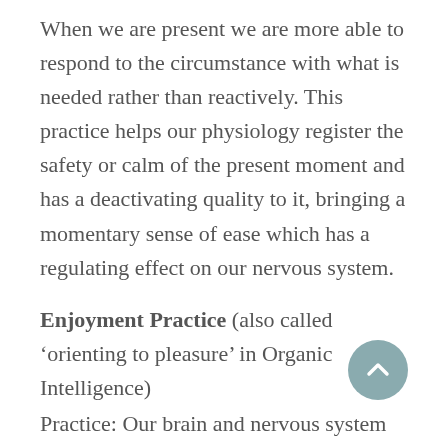When we are present we are more able to respond to the circumstance with what is needed rather than reactively. This practice helps our physiology register the safety or calm of the present moment and has a deactivating quality to it, bringing a momentary sense of ease which has a regulating effect on our nervous system.
Enjoyment Practice (also called 'orienting to pleasure' in Organic Intelligence)
Practice: Our brain and nervous system are wired to pay attention